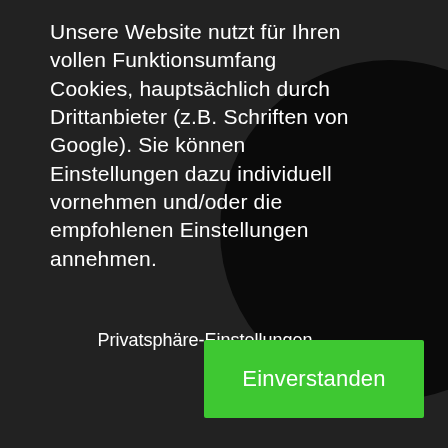Unsere Website nutzt für Ihren vollen Funktionsumfang Cookies, hauptsächlich durch Drittanbieter (z.B. Schriften von Google). Sie können Einstellungen dazu individuell vornehmen und/oder die empfohlenen Einstellungen annehmen.
Privatsphäre-Einstellungen
Einverstanden